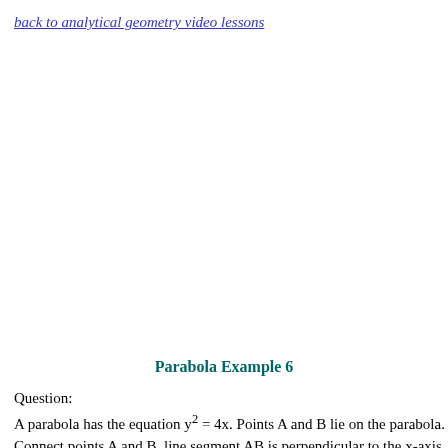back to analytical geometry video lessons
Parabola Example 6
Question:
A parabola has the equation y² = 4x. Points A and B lie on the parabola. Connect points A and B, line segment AB is perpendicular to the x-axis. Point F is the focus...